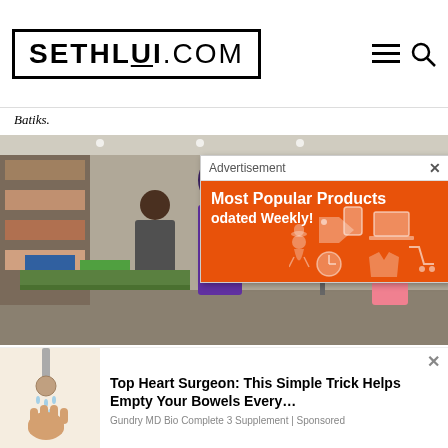SETHLUI.COM
Batiks.
[Figure (photo): Interior of a batik fabric shop showing colorful fabrics on display, mannequins dressed in batik clothing, and a customer browsing.]
[Figure (infographic): Advertisement overlay: 'Most Popular Products Updated Weekly!' on orange background with shopping-related icons (laptop, phone, clothing, cart).]
[Figure (infographic): Bottom advertisement: 'Top Heart Surgeon: This Simple Trick Helps Empty Your Bowels Every...' sponsored by Gundry MD Bio Complete 3 Supplement, with an illustration of a hand holding something under a shower.]